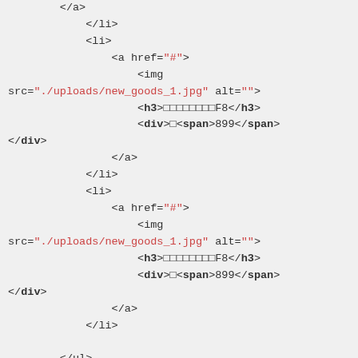HTML source code snippet showing list items with anchor, img, h3, div, span tags and string attributes like href, src, alt, class values